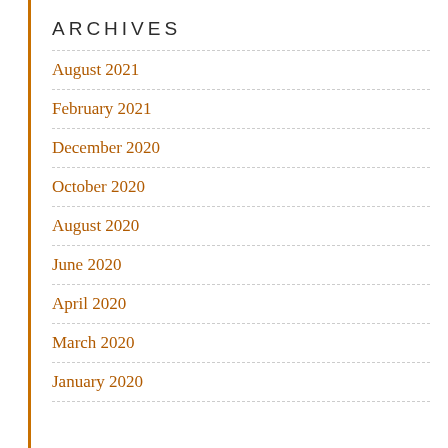ARCHIVES
August 2021
February 2021
December 2020
October 2020
August 2020
June 2020
April 2020
March 2020
January 2020